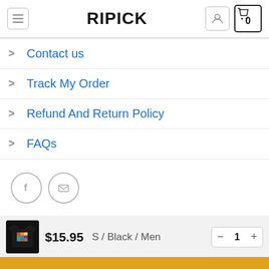RIPICK
Contact us
Track My Order
Refund And Return Policy
FAQs
[Figure (infographic): Social icons: Facebook circle and Email/envelope circle]
$15.95  S / Black / Men  - 1 +